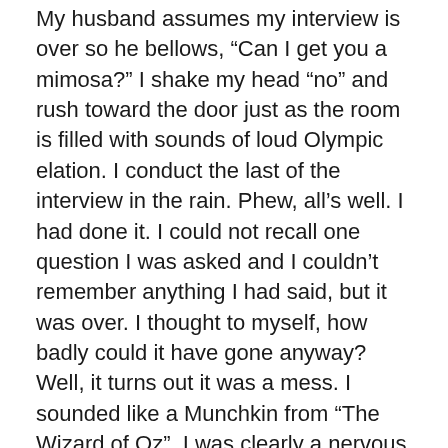My husband assumes my interview is over so he bellows, “Can I get you a mimosa?” I shake my head “no” and rush toward the door just as the room is filled with sounds of loud Olympic elation. I conduct the last of the interview in the rain. Phew, all’s well. I had done it. I could not recall one question I was asked and I couldn’t remember anything I had said, but it was over. I thought to myself, how badly could it have gone anyway?
Well, it turns out it was a mess. I sounded like a Munchkin from “The Wizard of Oz”, I was clearly a nervous wreck, and worse yet, I had answered some questions completely wrong. I will admit that sometimes I confuse fact and fiction, but this was ridiculous. I stated that I found the exact town where my great grandfather was from, but in fact, Ballinhassig was the perfect “fictional” town, for I